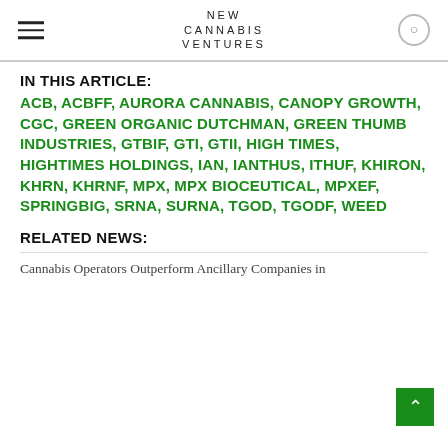NEW CANNABIS VENTURES
IN THIS ARTICLE:
ACB, ACBFF, AURORA CANNABIS, CANOPY GROWTH, CGC, GREEN ORGANIC DUTCHMAN, GREEN THUMB INDUSTRIES, GTBIF, GTI, GTII, HIGH TIMES, HIGHTIMES HOLDINGS, IAN, IANTHUS, ITHUF, KHIRON, KHRN, KHRNF, MPX, MPX BIOCEUTICAL, MPXEF, SPRINGBIG, SRNA, SURNA, TGOD, TGODF, WEED
RELATED NEWS:
Cannabis Operators Outperform Ancillary Companies in